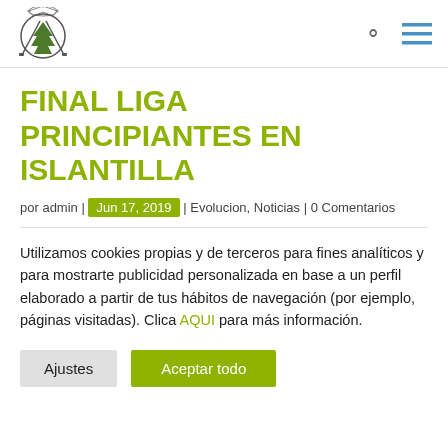[Figure (logo): Golf club circular logo/crest with tree and crossed golf clubs]
FINAL LIGA PRINCIPIANTES EN ISLANTILLA
por admin | Jun 17, 2019 | Evolucion, Noticias | 0 Comentarios
Utilizamos cookies propias y de terceros para fines analíticos y para mostrarte publicidad personalizada en base a un perfil elaborado a partir de tus hábitos de navegación (por ejemplo, páginas visitadas). Clica AQUI para más información.
Ajustes | Aceptar todo